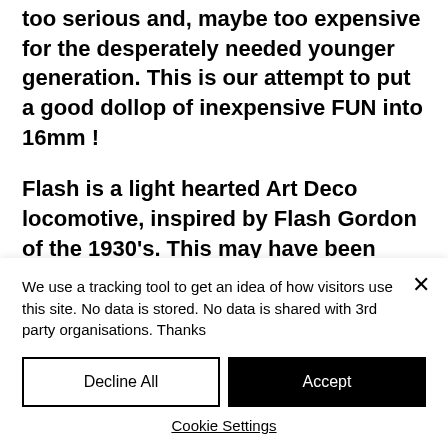too serious and, maybe too expensive for the desperately needed younger generation. This is our attempt to put a good dollop of inexpensive FUN into 16mm !
Flash is a light hearted Art Deco locomotive, inspired by Flash Gordon of the 1930's. This may have been something that 'in the day,' could have been drawn up
We use a tracking tool to get an idea of how visitors use this site. No data is stored. No data is shared with 3rd party organisations. Thanks
Decline All
Accept
Cookie Settings